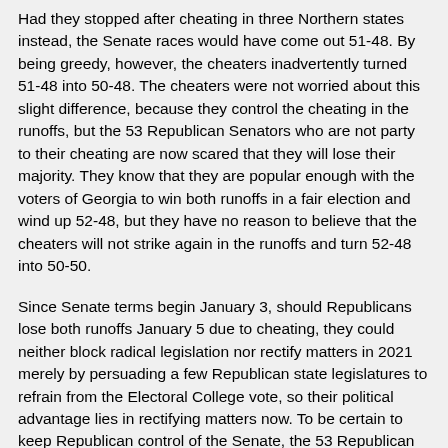Had they stopped after cheating in three Northern states instead, the Senate races would have come out 51-48. By being greedy, however, the cheaters inadvertently turned 51-48 into 50-48. The cheaters were not worried about this slight difference, because they control the cheating in the runoffs, but the 53 Republican Senators who are not party to their cheating are now scared that they will lose their majority. They know that they are popular enough with the voters of Georgia to win both runoffs in a fair election and wind up 52-48, but they have no reason to believe that the cheaters will not strike again in the runoffs and turn 52-48 into 50-50.
Since Senate terms begin January 3, should Republicans lose both runoffs January 5 due to cheating, they could neither block radical legislation nor rectify matters in 2021 merely by persuading a few Republican state legislatures to refrain from the Electoral College vote, so their political advantage lies in rectifying matters now. To be certain to keep Republican control of the Senate, the 53 Republican Senators need Vice President Pence to be reelected instead of losing to Senator Harris. The only way for this to happen is for fewer than 270 Electors to vote for Senator Harris, so that the Senate can choose the Vice